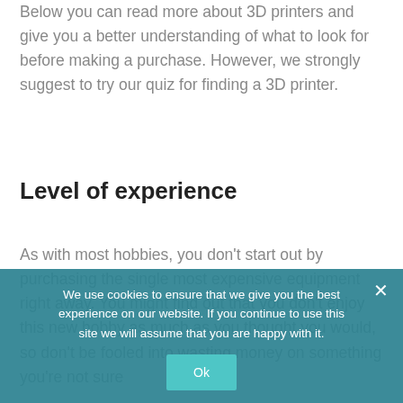Below you can read more about 3D printers and give you a better understanding of what to look for before making a purchase. However, we strongly suggest to try our quiz for finding a 3D printer.
Level of experience
As with most hobbies, you don't start out by purchasing the single most expensive equipment right away. You might find out that you don't enjoy this new hobby as much as you thought you would, so don't be fooled into wasting money on something you're not sure
We use cookies to ensure that we give you the best experience on our website. If you continue to use this site we will assume that you are happy with it.